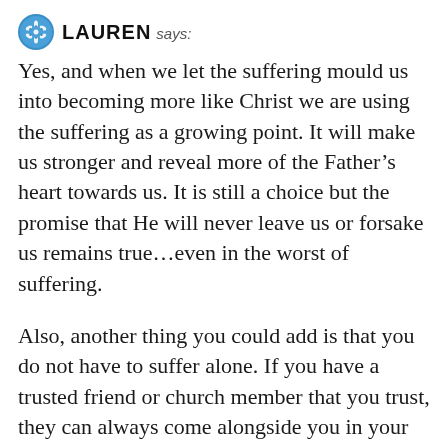LAUREN says:
Yes, and when we let the suffering mould us into becoming more like Christ we are using the suffering as a growing point. It will make us stronger and reveal more of the Father’s heart towards us. It is still a choice but the promise that He will never leave us or forsake us remains true…even in the worst of suffering.
Also, another thing you could add is that you do not have to suffer alone. If you have a trusted friend or church member that you trust, they can always come alongside you in your weakest and darkest hour.